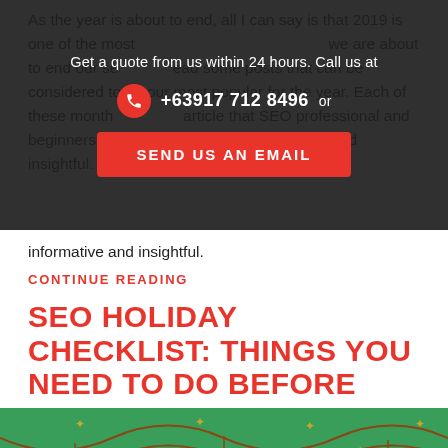As the year is about to end, all I can say is that 2019 is one of the most... we are about to end our se... read some posts that can be considered to be our most popular for the year. Each of these month... article that SEO professional and beginners alike have found very informative and insightful.
[Figure (infographic): Dark overlay popup with call-to-action: 'Get a quote from us within 24 hours. Call us at +63917 712 8496 or SEND US AN EMAIL button']
informative and insightful.
CONTINUE READING
SEO HOLIDAY CHECKLIST: THINGS YOU NEED TO DO BEFORE THE YEAR ENDS
[Figure (illustration): Holiday-themed illustration with green background, Christmas ornaments (baubles) hanging from strings with gold star decorations. Ornaments visible at bottom of page.]